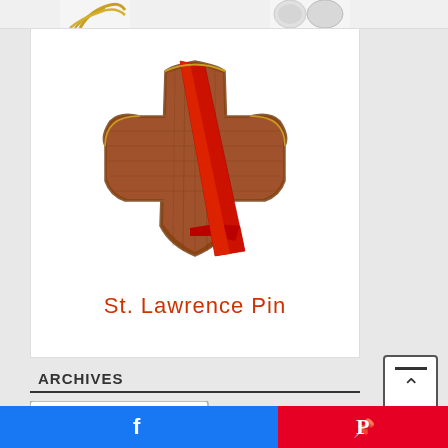[Figure (photo): Partial view of decorative items at top of page]
[Figure (photo): St. Lawrence Pin product image — a wooden cross with a red diagonal stole/band across it, gold-bordered enamel pin]
St. Lawrence Pin
ARCHIVES
[Figure (screenshot): Select Month dropdown widget for archives navigation]
[Figure (screenshot): Scroll-to-top button with arrow]
[Figure (screenshot): Facebook share button (blue bar)]
[Figure (screenshot): Pinterest share button (red bar)]